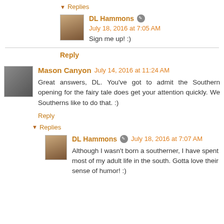▾ Replies
DL Hammons ✎ July 18, 2016 at 7:05 AM
Sign me up! :)
Reply
Mason Canyon  July 14, 2016 at 11:24 AM
Great answers, DL. You've got to admit the Southern opening for the fairy tale does get your attention quickly. We Southerns like to do that. :)
Reply
▾ Replies
DL Hammons ✎ July 18, 2016 at 7:07 AM
Although I wasn't born a southerner, I have spent most of my adult life in the south. Gotta love their sense of humor! :)